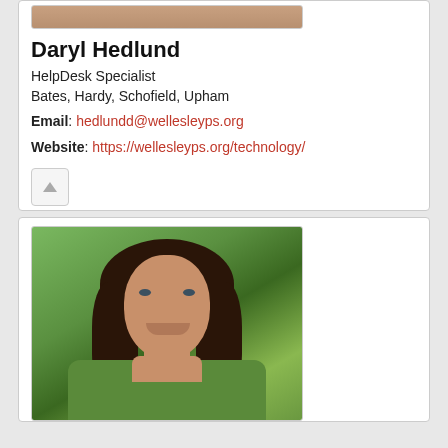[Figure (photo): Partial photo of Daryl Hedlund (cropped, only top portion visible) at the top of the first card]
Daryl Hedlund
HelpDesk Specialist
Bates, Hardy, Schofield, Upham
Email: hedlundd@wellesleyps.org
Website: https://wellesleyps.org/technology/
[Figure (photo): Portrait photo of a woman with dark brown hair, wearing a green jacket, smiling, with green trees in the background]